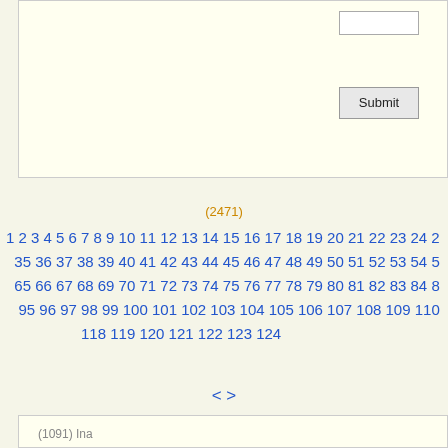[Figure (screenshot): Web form with an input field and Submit button on a cream background]
(2471)
1 2 3 4 5 6 7 8 9 10 11 12 13 14 15 16 17 18 19 20 21 22 23 24 2 35 36 37 38 39 40 41 42 43 44 45 46 47 48 49 50 51 52 53 54 5 65 66 67 68 69 70 71 72 73 74 75 76 77 78 79 80 81 82 83 84 8 95 96 97 98 99 100 101 102 103 104 105 106 107 108 109 110 118 119 120 121 122 123 124
< >
(1091) Ina